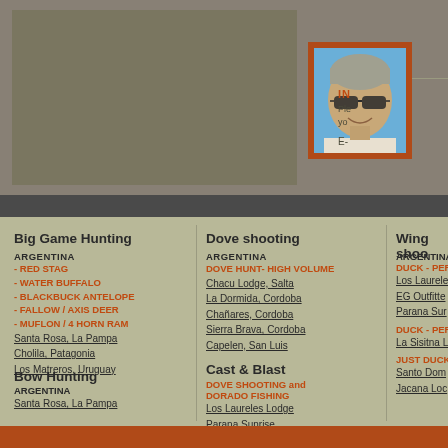[Figure (photo): Photo of a man with grey hair wearing sunglasses, smiling, with blue sky background, framed in dark orange/brown border]
IN Please you E-
Big Game Hunting
ARGENTINA
- RED STAG
- WATER BUFFALO
- BLACKBUCK ANTELOPE
- FALLOW / AXIS DEER
- MUFLON / 4 HORN RAM
Santa Rosa, La Pampa
Cholila, Patagonia
Los Matreros, Uruguay
Bow Hunting
ARGENTINA
Santa Rosa, La Pampa
Dove shooting
ARGENTINA
DOVE HUNT- HIGH VOLUME
Chacu Lodge, Salta
La Dormida, Cordoba
Chañares, Cordoba
Sierra Brava, Cordoba
Capelen, San Luis
Cast & Blast
DOVE SHOOTING and DORADO FISHING
Los Laureles Lodge
Parana Sunrise
Wing shoo
ARGENTINA
DUCK - PERD
Los Laurele
EG Outfitte
Parana Sur
DUCK - PERD
La Sisitna L
JUST DUCK H
Santo Dom
Jacana Loc